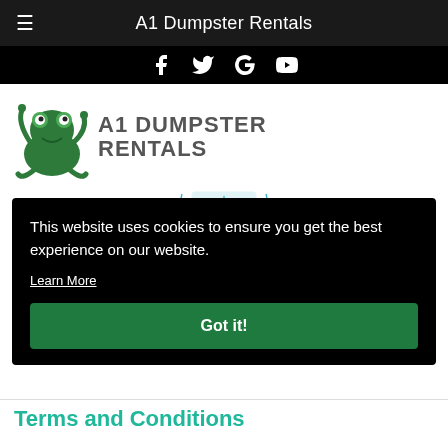A1 Dumpster Rentals
[Figure (logo): A1 Dumpster Rentals logo with cartoon frog and bold text]
[Figure (infographic): Industry Oversight badge with laurel wreath]
This website uses cookies to ensure you get the best experience on our website. Learn More Got it!
Terms and Conditions